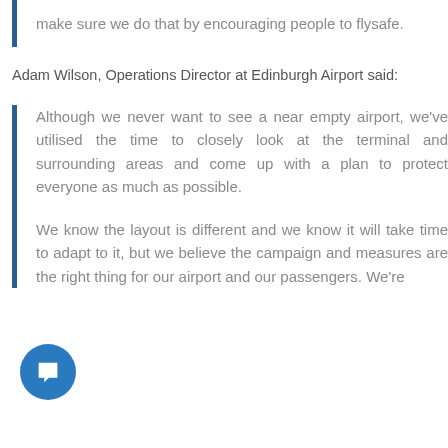make sure we do that by encouraging people to flysafe.
Adam Wilson, Operations Director at Edinburgh Airport said:
Although we never want to see a near empty airport, we've utilised the time to closely look at the terminal and surrounding areas and come up with a plan to protect everyone as much as possible.
We know the layout is different and we know it will take time to adapt to it, but we believe the campaign and measures are the right thing for our airport and our passengers. We're